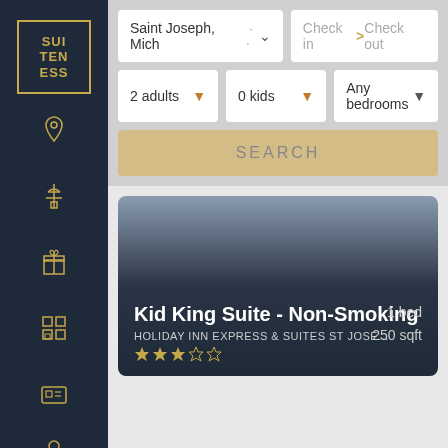[Figure (logo): Suiteness logo with gold border and gold letters SUI TEN ESS]
[Figure (illustration): Sidebar navigation icons: location pin, control tower, gift box, building/hotel grid, ID card, user profile]
Saint Joseph, Mich · · ·
Check in > Check out
2 adults
0 kids
Any bedrooms
SEARCH
Kid King Suite - Non-Smoking
HOLIDAY INN EXPRESS & SUITES ST JOSE...
★★★☆☆
1 bed
250 sqft